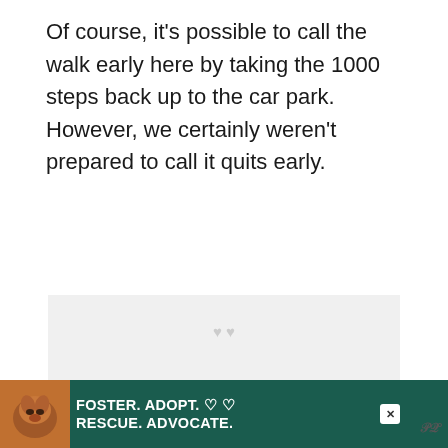Of course, it's possible to call the walk early here by taking the 1000 steps back up to the car park. However, we certainly weren't prepared to call it quits early.
[Figure (photo): A large light gray image placeholder area in the middle of the page, with a faint watermark or icon visible near the top center.]
[Figure (other): A teal circular button with a white heart icon (favorite/like button) on the right side of the page.]
[Figure (other): A white circular button with a share icon (share button) on the right side of the page.]
[Figure (other): A dark teal advertisement banner at the bottom of the page featuring a dog photo and text reading FOSTER. ADOPT. RESCUE. ADVOCATE. with heart icons and a close button, plus a wordmark on the right.]